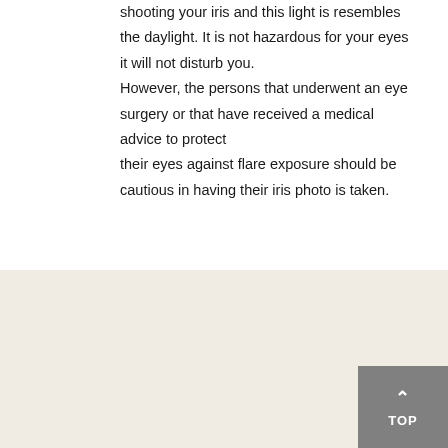shooting your iris and this light is resembles the daylight. It is not hazardous for your eyes it will not disturb you. However, the persons that underwent an eye surgery or that have received a medical advice to protect their eyes against flare exposure should be cautious in having their iris photo is taken.
How do you retouch on the photos?
We pay attention to maintain your eyes' characteristics. However, we